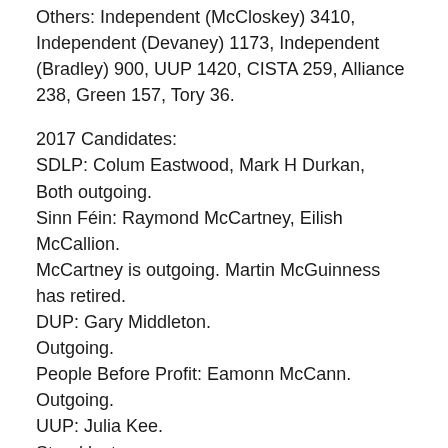Others: Independent (McCloskey) 3410, Independent (Devaney) 1173, Independent (Bradley) 900, UUP 1420, CISTA 259, Alliance 238, Green 157, Tory 36.
2017 Candidates:
SDLP: Colum Eastwood, Mark H Durkan,
Both outgoing.
Sinn Féin: Raymond McCartney, Eilish McCallion.
McCartney is outgoing. Martin McGuinness has retired.
DUP: Gary Middleton.
Outgoing.
People Before Profit: Eamonn McCann.
Outgoing.
UUP: Julia Kee.
Stood last year
Alliance: Colm Cavanagh.